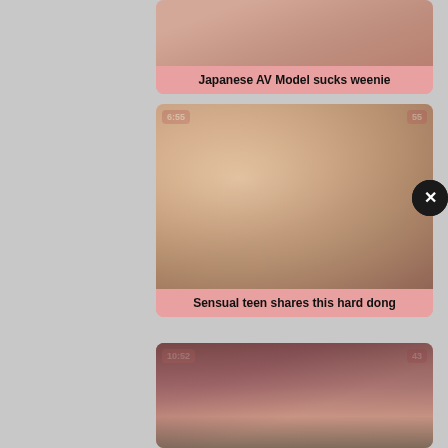[Figure (screenshot): Video thumbnail card: Japanese AV Model sucks weenie, title on pink background]
[Figure (screenshot): Video thumbnail card with badges 6:55 and 55: Sensual teen shares this hard dong]
[Figure (screenshot): Video thumbnail card with badges 10:52 and 43: partial view of third video card]
[Figure (screenshot): Close button X circle on right side]